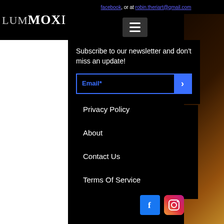facebook, or at robin.theriart@gmail.com
[Figure (logo): LUMMOXI logo in white serif text on black background]
Subscribe to our newsletter and don't miss an update!
Privacy Policy
About
Contact Us
Terms Of Service
[Figure (infographic): Facebook and Instagram social media icons]